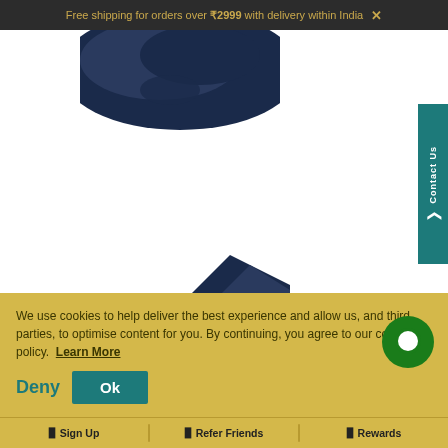Free shipping for orders over ₹2999 with delivery within India ×
[Figure (photo): Product photo showing dark navy blue fabric/textile item, partially visible at top and bottom of white product image area]
[Figure (other): Teal 'Contact Us' sidebar tab on right side of page]
We use cookies to help deliver the best experience and allow us, and third parties, to optimise content for you. By continuing, you agree to our cookie policy. Learn More
Deny
Ok
Sign Up | Refer Friends | Rewards